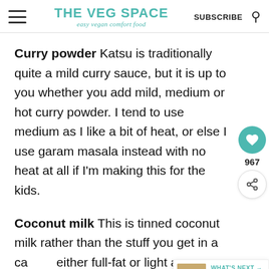THE VEG SPACE easy vegan comfort food | SUBSCRIBE
Curry powder Katsu is traditionally quite a mild curry sauce, but it is up to you whether you add mild, medium or hot curry powder. I tend to use medium as I like a bit of heat, or else I use garam masala instead with no heat at all if I'm making this for the kids.
Coconut milk This is tinned coconut milk rather than the stuff you get in a ca... either full-fat or light as you prefer, there is